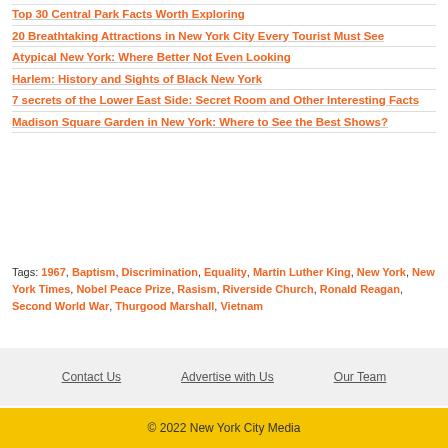Top 30 Central Park Facts Worth Exploring
20 Breathtaking Attractions in New York City Every Tourist Must See
Atypical New York: Where Better Not Even Looking
Harlem: History and Sights of Black New York
7 secrets of the Lower East Side: Secret Room and Other Interesting Facts
Madison Square Garden in New York: Where to See the Best Shows?
Tags: 1967, Baptism, Discrimination, Equality, Martin Luther King, New York, New York Times, Nobel Peace Prize, Rasism, Riverside Church, Ronald Reagan, Second World War, Thurgood Marshall, Vietnam
Contact Us   Advertise with Us   Our Team
© 2022 New York City Media